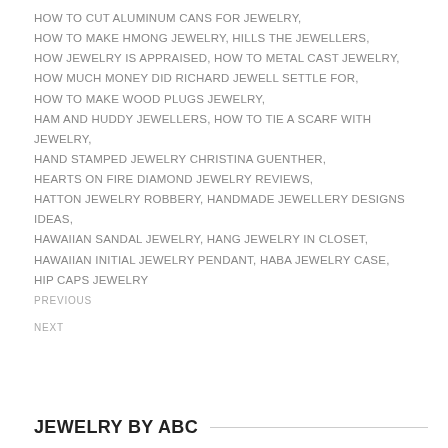HOW TO CUT ALUMINUM CANS FOR JEWELRY,
HOW TO MAKE HMONG JEWELRY, HILLS THE JEWELLERS,
HOW JEWELRY IS APPRAISED, HOW TO METAL CAST JEWELRY,
HOW MUCH MONEY DID RICHARD JEWELL SETTLE FOR,
HOW TO MAKE WOOD PLUGS JEWELRY,
HAM AND HUDDY JEWELLERS, HOW TO TIE A SCARF WITH JEWELRY,
HAND STAMPED JEWELRY CHRISTINA GUENTHER,
HEARTS ON FIRE DIAMOND JEWELRY REVIEWS,
HATTON JEWELRY ROBBERY, HANDMADE JEWELLERY DESIGNS IDEAS,
HAWAIIAN SANDAL JEWELRY, HANG JEWELRY IN CLOSET,
HAWAIIAN INITIAL JEWELRY PENDANT, HABA JEWELRY CASE,
HIP CAPS JEWELRY
PREVIOUS
NEXT
JEWELRY BY ABC